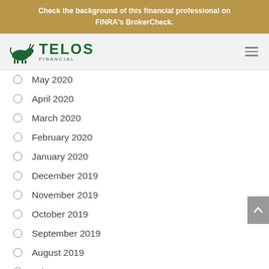Check the background of this financial professional on FINRA's BrokerCheck.
[Figure (logo): Telos Financial logo with green bull icon and green TELOS FINANCIAL text]
May 2020
April 2020
March 2020
February 2020
January 2020
December 2019
November 2019
October 2019
September 2019
August 2019
July 2019